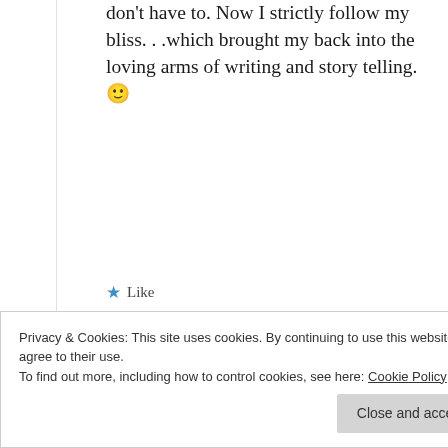don't have to. Now I strictly follow my bliss. . .which brought my back into the loving arms of writing and story telling. 🙂
★ Like
VIVEKA  November 22, 2012 at 3:23 pm
[Figure (photo): Circular avatar image of Viveka, showing a reddish/pink abstract profile photo]
Lucky you . . . I always dreamed about freelance jobs too –
Privacy & Cookies: This site uses cookies. By continuing to use this website, you agree to their use.
To find out more, including how to control cookies, see here: Cookie Policy
Close and accept